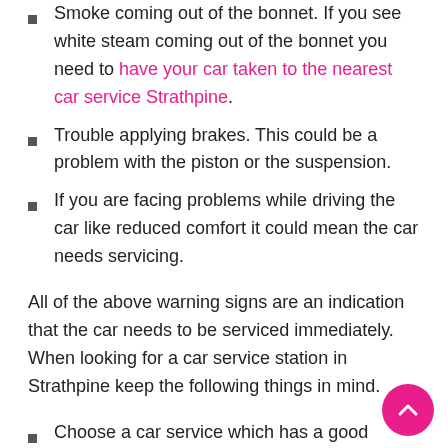Smoke coming out of the bonnet. If you see white steam coming out of the bonnet you need to have your car taken to the nearest car service Strathpine.
Trouble applying brakes. This could be a problem with the piston or the suspension.
If you are facing problems while driving the car like reduced comfort it could mean the car needs servicing.
All of the above warning signs are an indication that the car needs to be serviced immediately. When looking for a car service station in Strathpine keep the following things in mind.
Choose a car service which has a good reputation. This means that they should be able to provide you with good quality service. They